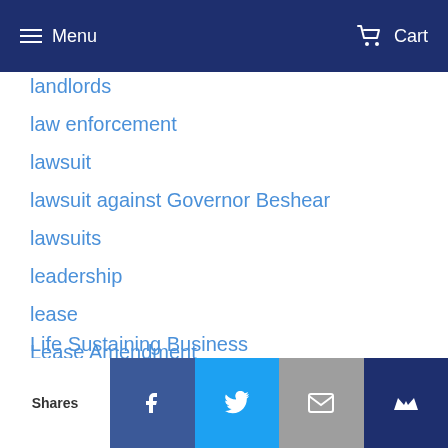Menu | Cart
landlords
law enforcement
lawsuit
lawsuit against Governor Beshear
lawsuits
leadership
lease
Lease Amendment
lease termination
lease violations
legislation
liability
Life Sustaining Business
Shares